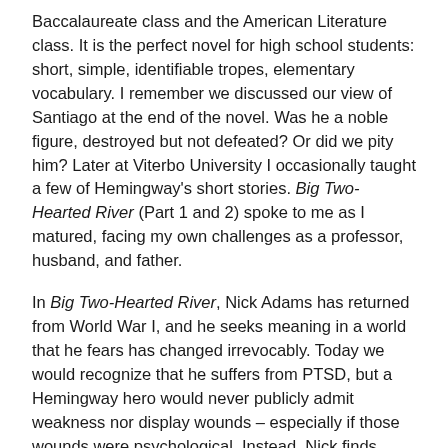Baccalaureate class and the American Literature class. It is the perfect novel for high school students: short, simple, identifiable tropes, elementary vocabulary. I remember we discussed our view of Santiago at the end of the novel. Was he a noble figure, destroyed but not defeated? Or did we pity him? Later at Viterbo University I occasionally taught a few of Hemingway's short stories. Big Two-Hearted River (Part 1 and 2) spoke to me as I matured, facing my own challenges as a professor, husband, and father.
In Big Two-Hearted River, Nick Adams has returned from World War I, and he seeks meaning in a world that he fears has changed irrevocably. Today we would recognize that he suffers from PTSD, but a Hemingway hero would never publicly admit weakness nor display wounds – especially if those wounds were psychological. Instead, Nick finds meaning and order in those things that before had defined his life. He camps in an area that has been burned by a forest fire, desolation symbolic of what he left behind in Europe.